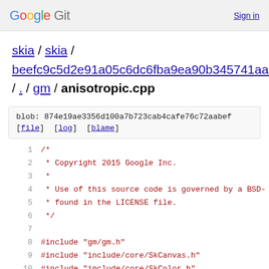Google Git  Sign in
skia / skia / beefc9c5d2e91a05c6dc6fba9ea90b345741aabe / . / gm / anisotropic.cpp
blob: 874e19ae3356d100a7b723cab4cafe76c72aabef [file] [log] [blame]
1  /*
2   * Copyright 2015 Google Inc.
3   *
4   * Use of this source code is governed by a BSD-
5   * found in the LICENSE file.
6   */
7
8  #include "gm/gm.h"
9  #include "include/core/SkCanvas.h"
10 #include "include/core/SkColor.h"